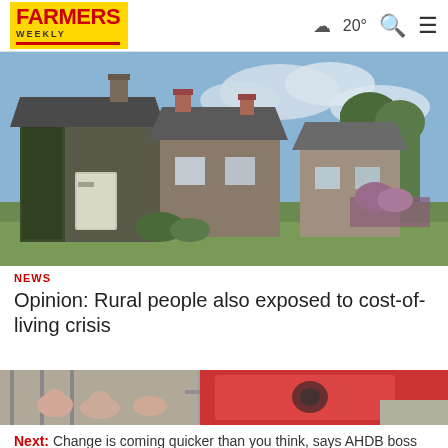Farmers Weekly — 20°
[Figure (photo): Stone farmhouse cottages with ivy-covered walls and chimneys, under a partly cloudy sky with green garden in foreground]
NEWS
Opinion: Rural people also exposed to cost-of-living crisis
[Figure (photo): Pigs in a farm enclosure with a red feeding machine, partial view]
Next: Change is coming quicker than you think, says AHDB boss